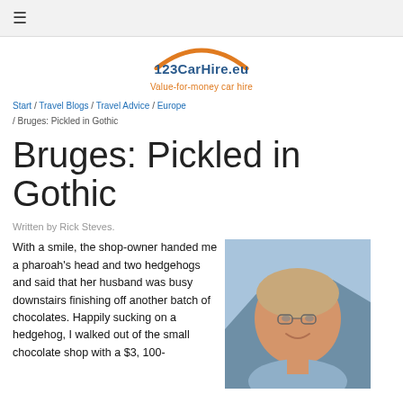≡
[Figure (logo): 123CarHire.eu logo with orange arc and tagline 'Value-for-money car hire']
Start / Travel Blogs / Travel Advice / Europe / Bruges: Pickled in Gothic
Bruges: Pickled in Gothic
Written by Rick Steves.
With a smile, the shop-owner handed me a pharoah's head and two hedgehogs and said that her husband was busy downstairs finishing off another batch of chocolates. Happily sucking on a hedgehog, I walked out of the small chocolate shop with a $3, 100-
[Figure (photo): Portrait photo of Rick Steves, a middle-aged man with glasses and blonde/gray hair, smiling, with mountains and sky in the background]